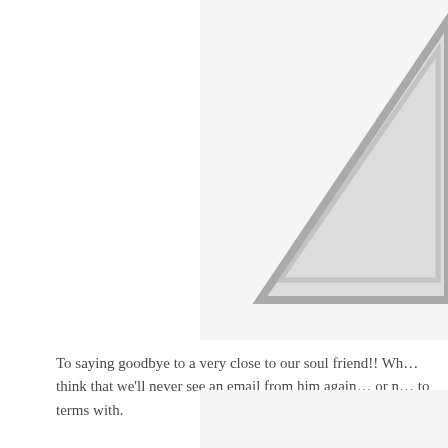[Figure (illustration): Partial view of a warning/caution triangle icon (gray outlined triangle with gray fill, cropped at right edge of visible area), shown in upper right portion of page]
To saying goodbye to a very close to our soul friend!! Wh... think that we'll never see an email from him again… or n... to terms with.
[Figure (illustration): Bottom portion of an image or content block with light gray background, partially visible at bottom right]